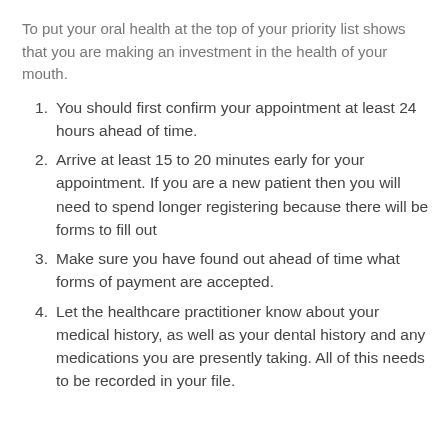To put your oral health at the top of your priority list shows that you are making an investment in the health of your mouth.
You should first confirm your appointment at least 24 hours ahead of time.
Arrive at least 15 to 20 minutes early for your appointment. If you are a new patient then you will need to spend longer registering because there will be forms to fill out
Make sure you have found out ahead of time what forms of payment are accepted.
Let the healthcare practitioner know about your medical history, as well as your dental history and any medications you are presently taking. All of this needs to be recorded in your file.